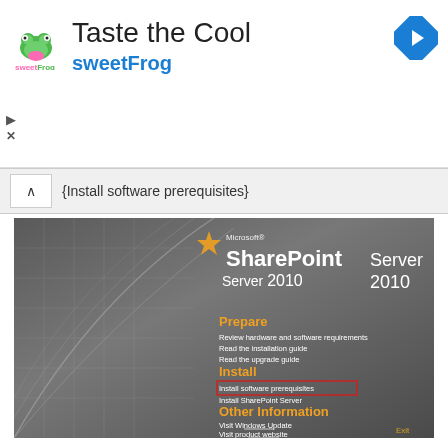[Figure (screenshot): Advertisement banner for sweetFrog frozen yogurt with logo, 'Taste the Cool' title, and navigation arrow icon]
{Install software prerequisites}
[Figure (screenshot): Microsoft SharePoint Server 2010 installer splash screen showing Prepare and Install sections with menu options: Review hardware and software requirements, Read the installation guide, Read the upgrade guide, Install software prerequisites (highlighted with red border), Install SharePoint Server, Other Information, Visit Windows Update, Visit product website, Exit]